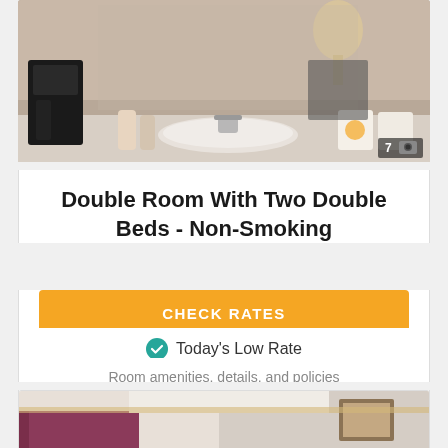[Figure (photo): Hotel bathroom vanity area with mirror, sink, coffee maker on left, and hotel-branded cups on right counter]
Double Room With Two Double Beds - Non-Smoking
CHECK RATES
Today's Low Rate
Room amenities, details, and policies
[Figure (photo): Hotel room interior with purple/burgundy walls and framed artwork]